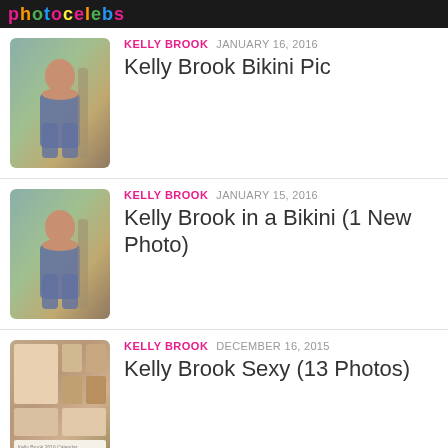photocelebs
KELLY BROOK  JANUARY 16, 2016
Kelly Brook Bikini Pic
KELLY BROOK  JANUARY 15, 2016
Kelly Brook in a Bikini (1 New Photo)
KELLY BROOK  DECEMBER 16, 2015
Kelly Brook Sexy (13 Photos)